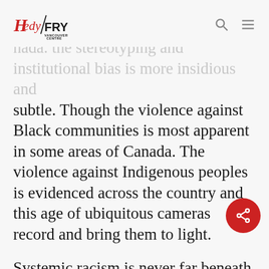Hedy Fry Vancouver Centre
nada. the stereotyping and institutional bias is more insidious and subtle. Though the violence against Black communities is most apparent in some areas of Canada. The violence against Indigenous peoples is evidenced across the country and this age of ubiquitous cameras record and bring them to light.

Systemic racism is never far beneath the surface. COVID 19 exposed this. Crisis brings anger and fear. It cracks the thin veneer of tolerance that seems to exist in quiet, polite times. It seeks to blame "the